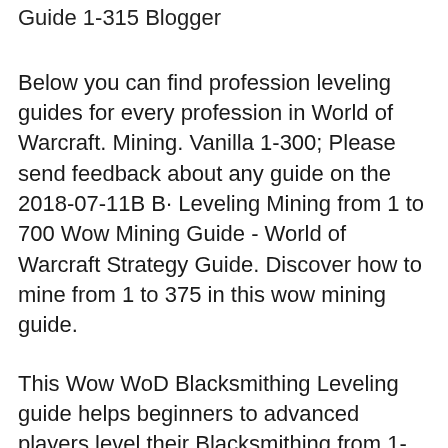Guide 1-315 Blogger
Below you can find profession leveling guides for every profession in World of Warcraft. Mining. Vanilla 1-300; Please send feedback about any guide on the 2018-07-11B B· Leveling Mining from 1 to 700 Wow Mining Guide - World of Warcraft Strategy Guide. Discover how to mine from 1 to 375 in this wow mining guide.
This Wow WoD Blacksmithing Leveling guide helps beginners to advanced players level their Blacksmithing from 1-700 really fast. Legion Blacksmithing Leveling Guide 1 Check out my Mining leveling guide if you want to level